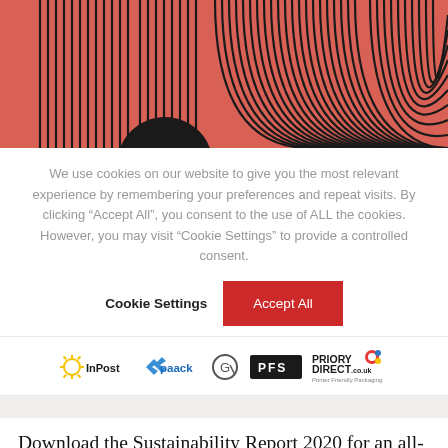[Figure (illustration): Decorative graphic with salmon/coral pink background and bold black concentric arch/line patterns forming stylized letters or abstract shapes. A black semicircle is visible at the lower left.]
We use cookies on our website to give you the most relevant experience by remembering your preferences and repeat visits. By clicking “Accept All”, you consent to the use of ALL the cookies. However, you may visit “Cookie Settings” to provide a controlled consent.
Cookie Settings
Accept All
[Figure (logo): Row of sponsor/partner logos: InPost (yellow sun icon), paack (blue arrows icon), a circular G-like icon, PFS (white text on black rectangle), Priory Direct (with printer icon and tagline 'Printer Friendly Packaging')]
Download the Sustainability Report 2020 for an all-